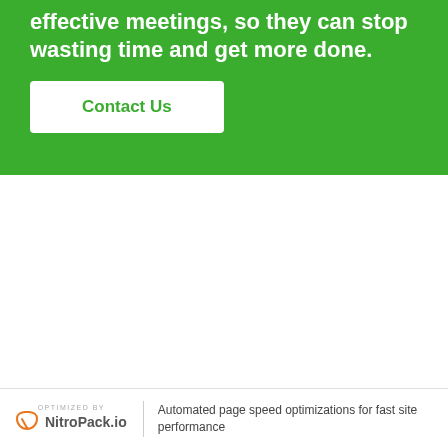effective meetings, so they can stop wasting time and get more done.
Contact Us
OPTIMIZED BY NitroPack.io | Automated page speed optimizations for fast site performance